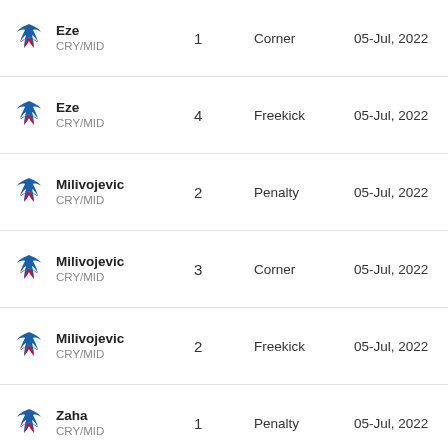| Player | Number | Type | Date |
| --- | --- | --- | --- |
| Eze CRY/MID | 1 | Corner | 05-Jul, 2022 |
| Eze CRY/MID | 4 | Freekick | 05-Jul, 2022 |
| Milivojevic CRY/MID | 2 | Penalty | 05-Jul, 2022 |
| Milivojevic CRY/MID | 3 | Corner | 05-Jul, 2022 |
| Milivojevic CRY/MID | 2 | Freekick | 05-Jul, 2022 |
| Zaha CRY/MID | 1 | Penalty | 05-Jul, 2022 |
| Zaha CRY/MID | 4 | Corner | 05-Jul, 2022 |